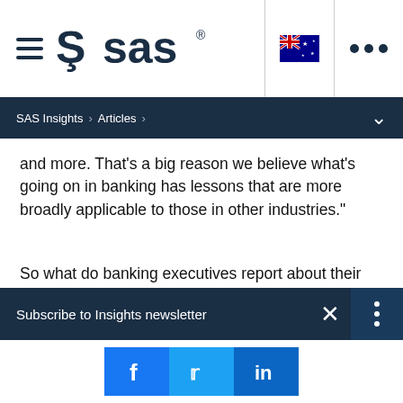[Figure (logo): SAS logo with hamburger menu icon in top-left navigation bar]
SAS Insights > Articles >
and more. That’s a big reason we believe what’s going on in banking has lessons that are more broadly applicable to those in other industries.”
So what do banking executives report about their experiences with AI? Where are they focusing today? What’s working? What are their plans for the future? Let’s focus on a few of the highlights of our findings specifically from the financial services industry, combined with our own who based on recent experience in the industry.
Subscribe to Insights newsletter